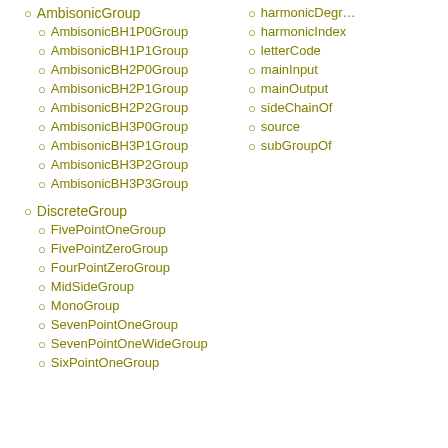AmbisonicGroup
AmbisonicBH1P0Group
AmbisonicBH1P1Group
AmbisonicBH2P0Group
AmbisonicBH2P1Group
AmbisonicBH2P2Group
AmbisonicBH3P0Group
AmbisonicBH3P1Group
AmbisonicBH3P2Group
AmbisonicBH3P3Group
DiscreteGroup
FivePointOneGroup
FivePointZeroGroup
FourPointZeroGroup
MidSideGroup
MonoGroup
SevenPointOneGroup
SevenPointOneWideGroup
SixPointOneGroup
harmonicDegree
harmonicIndex
letterCode
mainInput
mainOutput
sideChainOf
source
subGroupOf